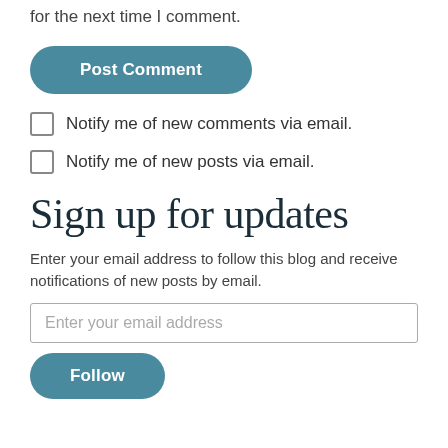for the next time I comment.
Post Comment
Notify me of new comments via email.
Notify me of new posts via email.
Sign up for updates
Enter your email address to follow this blog and receive notifications of new posts by email.
Enter your email address
Follow